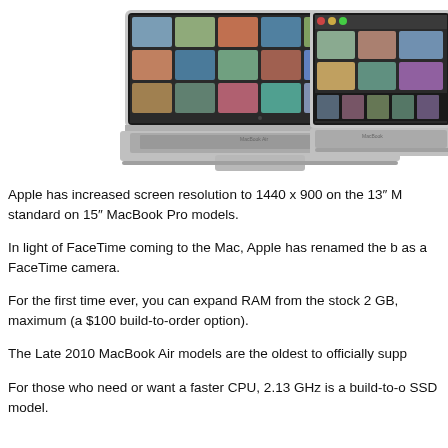[Figure (photo): Two MacBook laptops side by side. The left one is a 13-inch MacBook Air showing a photo library grid. The right one is partially visible showing iPhoto or similar app with photo thumbnails.]
Apple has increased screen resolution to 1440 x 900 on the 13" M standard on 15" MacBook Pro models.
In light of FaceTime coming to the Mac, Apple has renamed the b as a FaceTime camera.
For the first time ever, you can expand RAM from the stock 2 GB, maximum (a $100 build-to-order option).
The Late 2010 MacBook Air models are the oldest to officially supp
For those who need or want a faster CPU, 2.13 GHz is a build-to-o SSD model.